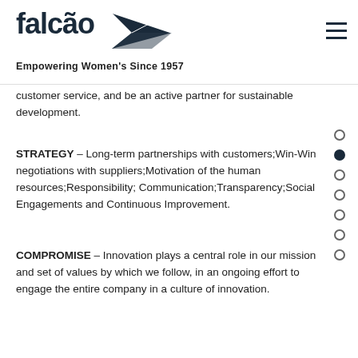falcão — Empowering Women's Since 1957
customer service, and be an active partner for sustainable development.
STRATEGY – Long-term partnerships with customers;Win-Win negotiations with suppliers;Motivation of the human resources;Responsibility; Communication;Transparency;Social Engagements and Continuous Improvement.
COMPROMISE – Innovation plays a central role in our mission and set of values by which we follow, in an ongoing effort to engage the entire company in a culture of innovation.